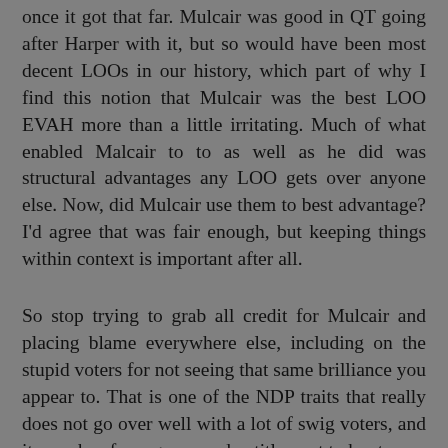once it got that far. Mulcair was good in QT going after Harper with it, but so would have been most decent LOOs in our history, which part of why I find this notion that Mulcair was the best LOO EVAH more than a little irritating. Much of what enabled Malcair to to as well as he did was structural advantages any LOO gets over anyone else. Now, did Mulcair use them to best advantage? I'd agree that was fair enough, but keeping things within context is important after all.
So stop trying to grab all credit for Mulcair and placing blame everywhere else, including on the stupid voters for not seeing that same brilliance you appear to. That is one of the NDP traits that really does not go over well with a lot of swig voters, and it smacks of arrogance and entitlement to boot.
Simon  8:03 AM
hi Cus... I already told you you should not be so